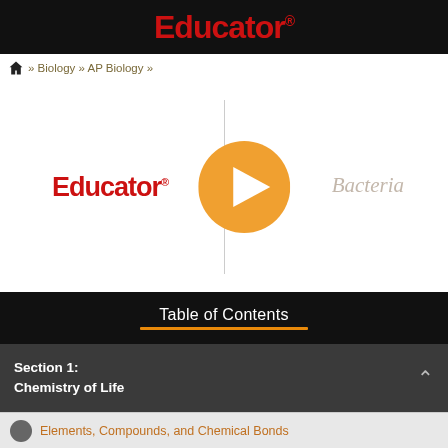Educator®
🏠 » Biology » AP Biology »
[Figure (screenshot): Video thumbnail showing Educator logo on left side of a vertical divider line, play button (orange circle with white triangle) in center, and italic text 'Bacteria' on right side.]
Table of Contents
Section 1:
Chemistry of Life
Elements, Compounds, and Chemical Bonds